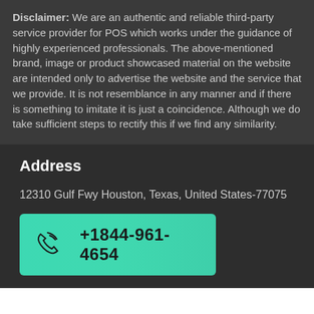Disclaimer: We are an authentic and reliable third-party service provider for POS which works under the guidance of highly experienced professionals. The above-mentioned brand, image or product showcased material on the website are intended only to advertise the website and the service that we provide. It is not resemblance in any manner and if there is something to imitate it is just a coincidence. Although we do take sufficient steps to rectify this if we find any similarity.
Address
12310 Gulf Fwy Houston, Texas, United States-77075
+1844-961-4654